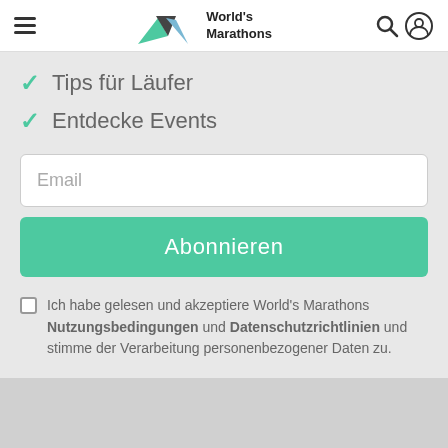World's Marathons
Tips für Läufer
Entdecke Events
Email
Abonnieren
Ich habe gelesen und akzeptiere World's Marathons Nutzungsbedingungen und Datenschutzrichtlinien und stimme der Verarbeitung personenbezogener Daten zu.